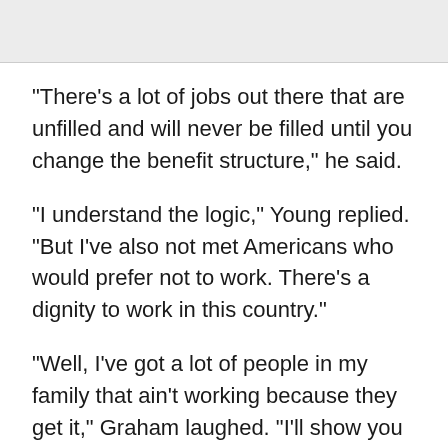"There's a lot of jobs out there that are unfilled and will never be filled until you change the benefit structure," he said.
"I understand the logic," Young replied. "But I've also not met Americans who would prefer not to work. There's a dignity to work in this country."
"Well, I've got a lot of people in my family that ain't working because they get it," Graham laughed. "I'll show you some in my family."
"So the bottom line is I think there are people out there